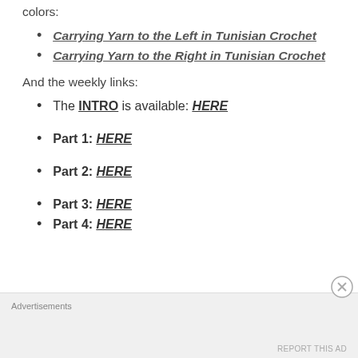colors:
Carrying Yarn to the Left in Tunisian Crochet
Carrying Yarn to the Right in Tunisian Crochet
And the weekly links:
The INTRO is available: HERE
Part 1: HERE
Part 2: HERE
Part 3: HERE
Part 4: HERE
Advertisements